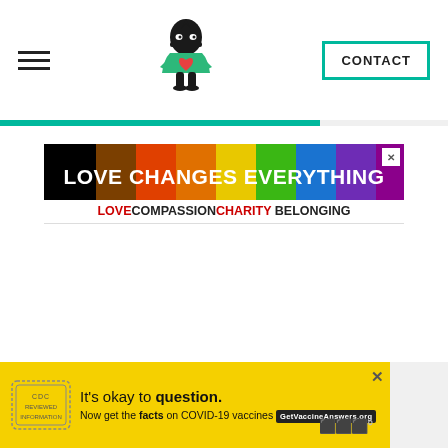CONTACT
[Figure (illustration): Website screenshot showing a header with hamburger menu, ninja mascot logo, contact button, green accent bar, a rainbow pride banner ad reading LOVE CHANGES EVERYTHING with tagline LOVE COMPASSION CHARITY BELONGING, and a yellow COVID-19 vaccine ad at the bottom.]